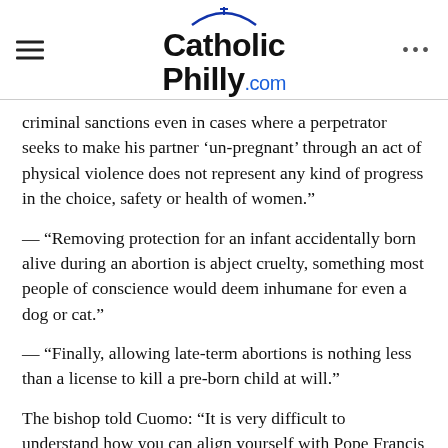CatholicPhilly.com
criminal sanctions even in cases where a perpetrator seeks to make his partner ‘un-pregnant’ through an act of physical violence does not represent any kind of progress in the choice, safety or health of women.”
— “Removing protection for an infant accidentally born alive during an abortion is abject cruelty, something most people of conscience would deem inhumane for even a dog or cat.”
— “Finally, allowing late-term abortions is nothing less than a license to kill a pre-born child at will.”
The bishop told Cuomo: “It is very difficult to understand how you can align yourself with Pope Francis and so vehemently advocate such profoundly destructive legislation.”